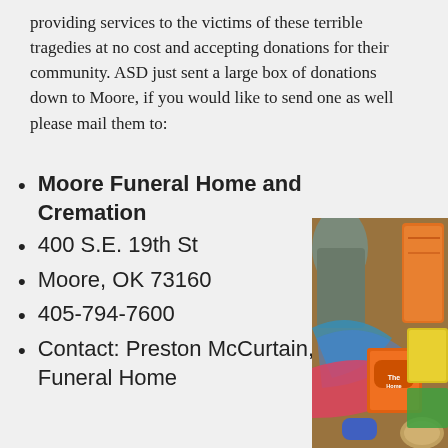providing services to the victims of these terrible tragedies at no cost and accepting donations for their community. ASD just sent a large box of donations down to Moore, if you would like to send one as well please mail them to:
Moore Funeral Home and Cremation
400 S.E. 19th St
Moore, OK 73160
405-794-7600
Contact: Preston McCurtain, Funeral Home
[Figure (photo): A cardboard box filled with donated items including clothing, food packages, Home Depot gift card, canned goods, and various other donation items]